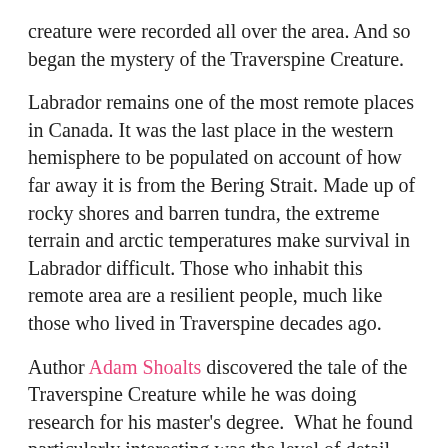creature were recorded all over the area. And so began the mystery of the Traverspine Creature.
Labrador remains one of the most remote places in Canada. It was the last place in the western hemisphere to be populated on account of how far away it is from the Bering Strait. Made up of rocky shores and barren tundra, the extreme terrain and arctic temperatures make survival in Labrador difficult. Those who inhabit this remote area are a resilient people, much like those who lived in Traverspine decades ago.
Author Adam Shoalts discovered the tale of the Traverspine Creature while he was doing research for his master's degree. What he found particularly interesting was the level of detail recorded in the story. History is full of legends of unknown creatures that lurk in the wilderness – yetis, wendigos, sasquatches, the list goes on. But these stories tend to be murky